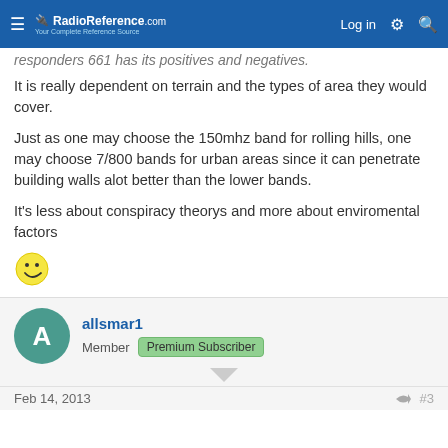RadioReference.com — Log in
responders 661 has its positives and negatives.
It is really dependent on terrain and the types of area they would cover.
Just as one may choose the 150mhz band for rolling hills, one may choose 7/800 bands for urban areas since it can penetrate building walls alot better than the lower bands.
It's less about conspiracy theorys and more about enviromental factors
[Figure (other): Smiley face emoji]
allsmar1 — Member — Premium Subscriber
Feb 14, 2013 — #3